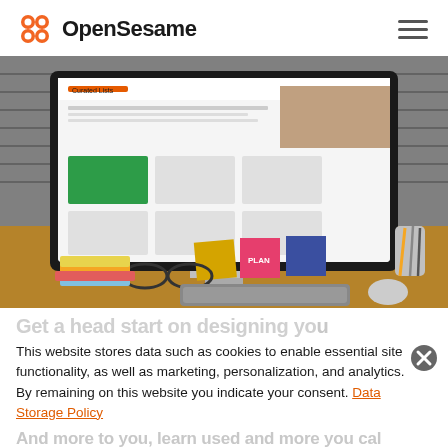OpenSesame
[Figure (photo): Desktop computer showing the OpenSesame website with curated lists and course thumbnails, surrounded by sticky notes saying PLAN, a keyboard, glasses, colorful sticky notes, and pencils on a wooden desk with a brick wall background.]
Get a head start on designing you
This website stores data such as cookies to enable essential site functionality, as well as marketing, personalization, and analytics. By remaining on this website you indicate your consent. Data Storage Policy
And more to you, learn used and more you cal